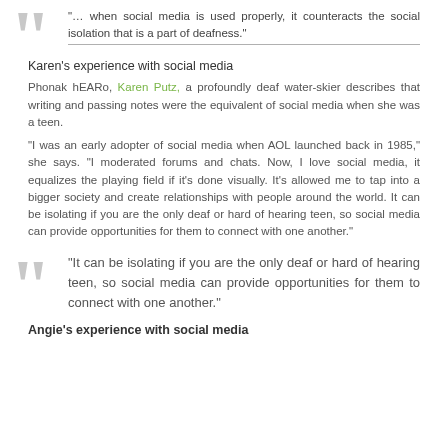“… when social media is used properly, it counteracts the social isolation that is a part of deafness.”
Karen’s experience with social media
Phonak hEARo, Karen Putz, a profoundly deaf water-skier describes that writing and passing notes were the equivalent of social media when she was a teen.
“I was an early adopter of social media when AOL launched back in 1985,” she says. “I moderated forums and chats. Now, I love social media, it equalizes the playing field if it’s done visually. It’s allowed me to tap into a bigger society and create relationships with people around the world. It can be isolating if you are the only deaf or hard of hearing teen, so social media can provide opportunities for them to connect with one another.”
“It can be isolating if you are the only deaf or hard of hearing teen, so social media can provide opportunities for them to connect with one another.”
Angie’s experience with social media